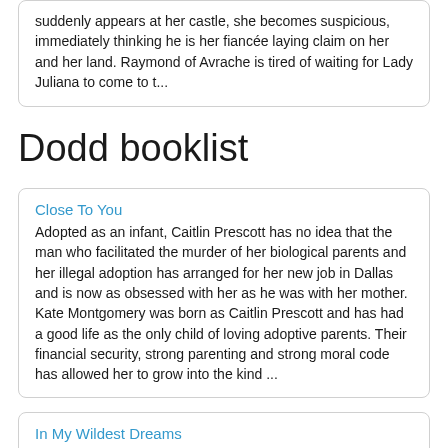suddenly appears at her castle, she becomes suspicious, immediately thinking he is her fiancée laying claim on her and her land. Raymond of Avrache is tired of waiting for Lady Juliana to come to t...
Dodd booklist
Close To You
Adopted as an infant, Caitlin Prescott has no idea that the man who facilitated the murder of her biological parents and her illegal adoption has arranged for her new job in Dallas and is now as obsessed with her as he was with her mother. Kate Montgomery was born as Caitlin Prescott and has had a good life as the only child of loving adoptive parents. Their financial security, strong parenting and strong moral code has allowed her to grow into the kind ...
In My Wildest Dreams
Avon, Oct 2001, 6.99, 384 pp. ISBN: 0380819627 By 1843 all seventeen years old Celeste wanted was the love of Ellery Throckmorton, but the handsome noble never noticed the gardener's daughter. However his older brother Garrick sends Celeste to the highly respected Distinguished Academy of Governesses and after that to Paris. Four years later, Ellery is betrothed to marry Hyacinth though he prefers to remain a bachelor, but sees Celeste an...